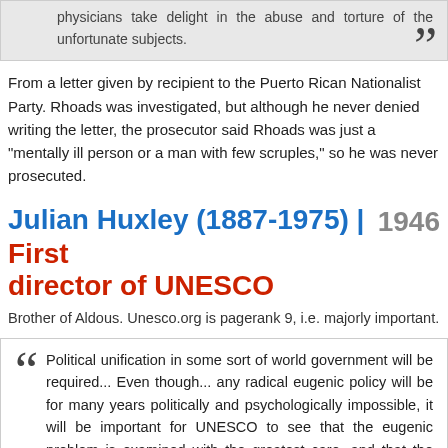physicians take delight in the abuse and torture of the unfortunate subjects.
From a letter given by recipient to the Puerto Rican Nationalist Party. Rhoads was investigated, but although he never denied writing the letter, the prosecutor said Rhoads was just a "mentally ill person or a man with few scruples," so he was never prosecuted.
Julian Huxley (1887-1975) | First director of UNESCO   1946
Brother of Aldous. Unesco.org is pagerank 9, i.e. majorly important.
Political unification in some sort of world government will be required... Even though... any radical eugenic policy will be for many years politically and psychologically impossible, it will be important for UNESCO to see that the eugenic problem is examined with the greatest care, and that the public mind is informed of the issues at stake so that much that now is unthinkable may at least become thinkable.
Taken from UNESCO: Its Purpose and Its Philosophy. Having come just